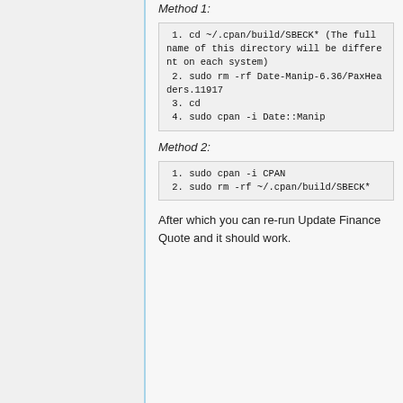Method 1:
1. cd ~/.cpan/build/SBECK* (The full name of this directory will be different on each system)
 2. sudo rm -rf Date-Manip-6.36/PaxHeaders.11917
 3. cd
 4. sudo cpan -i Date::Manip
Method 2:
1. sudo cpan -i CPAN
 2. sudo rm -rf ~/.cpan/build/SBECK*
After which you can re-run Update Finance Quote and it should work.